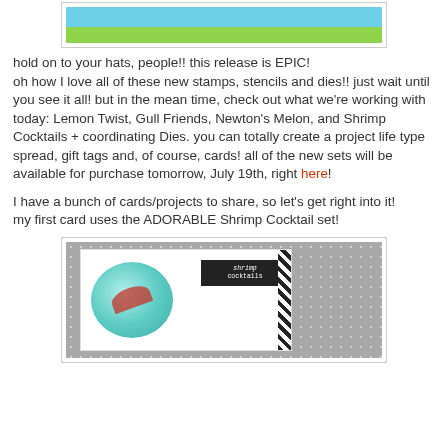[Figure (photo): Top partial image showing a colorful craft card with cupcake and summer theme on green background]
hold on to your hats, people!! this release is EPIC! oh how I love all of these new stamps, stencils and dies!! just wait until you see it all! but in the mean time, check out what we're working with today: Lemon Twist, Gull Friends, Newton's Melon, and Shrimp Cocktails + coordinating Dies. you can totally create a project life type spread, gift tags and, of course, cards! all of the new sets will be available for purchase tomorrow, July 19th, right here!
I have a bunch of cards/projects to share, so let's get right into it!
my first card uses the ADORABLE Shrimp Cocktail set!
[Figure (photo): Card featuring a shrimp cocktail in a glass bowl on a gray polka-dot background with a black banner reading 'shrimp cocktails' and black and white striped border element]